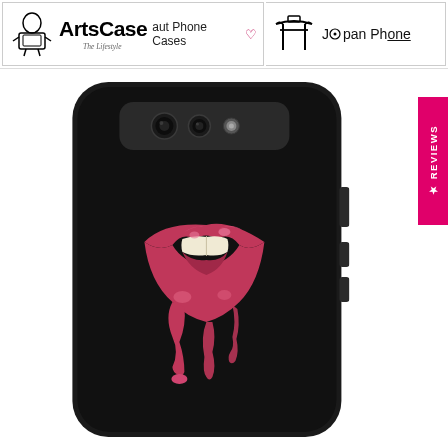[Figure (logo): ArtsCase brand logo with icon showing a figure, bold text 'ArtsCase' and tagline 'The Lifestyle', alongside nav text 'aut Phone Cases' with heart icon]
[Figure (logo): Japan Phone Cases logo with torii gate icon and text 'Japan Phone' with underline]
[Figure (photo): Samsung Galaxy S10e phone case with black background featuring dripping pink/red lips artwork biting lip with dripping paint effect]
[Figure (other): Pink/magenta vertical reviews tab on right side with star icon and 'REVIEWS' text rotated vertically]